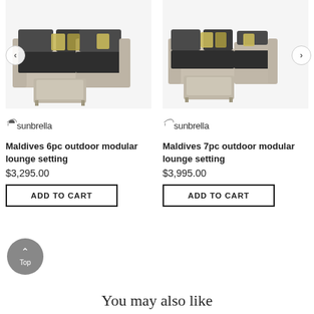[Figure (photo): Maldives 6pc outdoor modular lounge setting — grey wicker sofa set with dark cushions, yellow accent pillows, and glass coffee table. Left navigation arrow visible.]
[Figure (photo): Maldives 7pc outdoor modular lounge setting — grey wicker sofa set with dark cushions, yellow accent pillows, and glass coffee table. Right navigation arrow visible.]
[Figure (logo): Sunbrella brand logo with umbrella icon]
Maldives 6pc outdoor modular lounge setting
$3,295.00
ADD TO CART
[Figure (logo): Sunbrella brand logo with umbrella icon]
Maldives 7pc outdoor modular lounge setting
$3,995.00
ADD TO CART
Top
You may also like